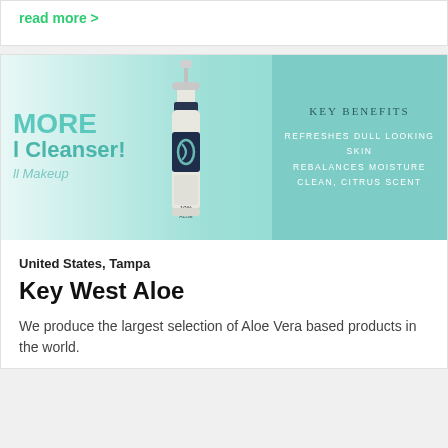read more >
[Figure (photo): Product promotional image for Key West Aloe Citrus Facial Cleanser with key benefits panel showing: REFRESHES DULL LOOKING SKIN, REBALANCES MOISTURE, CLEAN CITRUS SCENT. Image shows a pump bottle of facial cleanser on a teal/mint background with text MORE and Cleanser! and Makeup visible on the left side.]
United States, Tampa
Key West Aloe
We produce the largest selection of Aloe Vera based products in the world.